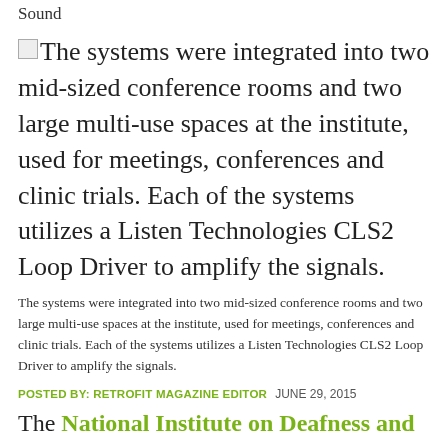Sound
[Figure (illustration): Broken image icon followed by large text: 'The systems were integrated into two mid-sized conference rooms and two large multi-use spaces at the institute, used for meetings, conferences and clinic trials. Each of the systems utilizes a Listen Technologies CLS2 Loop Driver to amplify the signals.']
The systems were integrated into two mid-sized conference rooms and two large multi-use spaces at the institute, used for meetings, conferences and clinic trials. Each of the systems utilizes a Listen Technologies CLS2 Loop Driver to amplify the signals.
POSTED BY: RETROFIT MAGAZINE EDITOR   JUNE 29, 2015
The National Institute on Deafness and Other Communication Disorders (NIDCD), in Bethesda, Md., is an institution for research into hearing and auditory health issues. Part of the National Institutes of Health (NIH), the NIDCD